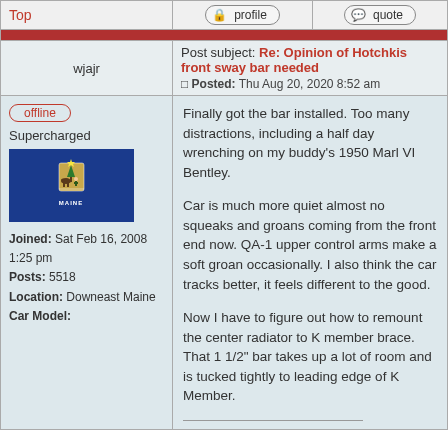Top
profile
quote
wjajr
Post subject: Re: Opinion of Hotchkis front sway bar needed
Posted: Thu Aug 20, 2020 8:52 am
offline
Supercharged
Joined: Sat Feb 16, 2008 1:25 pm
Posts: 5518
Location: Downeast Maine
Car Model:
Finally got the bar installed. Too many distractions, including a half day wrenching on my buddy's 1950 Marl VI Bentley.

Car is much more quiet almost no squeaks and groans coming from the front end now. QA-1 upper control arms make a soft groan occasionally. I also think the car tracks better, it feels different to the good.

Now I have to figure out how to remount the center radiator to K member brace. That 1 1/2" bar takes up a lot of room and is tucked tightly to leading edge of K Member.